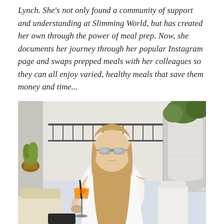Lynch. She's not only found a community of support and understanding at Slimming World, but has created her own through the power of meal prep. Now, she documents her journey through her popular Instagram page and swaps prepped meals with her colleagues so they can all enjoy varied, healthy meals that save them money and time...
[Figure (photo): A young blonde woman wearing sunglasses and a white dress, sitting outdoors on a terrace or rooftop bar, holding an orange cocktail drink in a wine glass with a black straw. Background shows white furniture, metal railings, potted plants, and decorative tiled bar counter.]